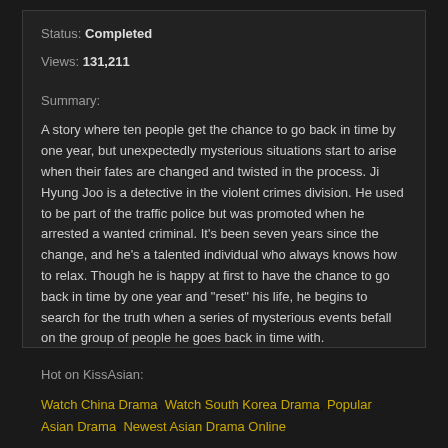Status: Completed
Views: 131,211
Summary:
A story where ten people get the chance to go back in time by one year, but unexpectedly mysterious situations start to arise when their fates are changed and twisted in the process. Ji Hyung Joo is a detective in the violent crimes division. He used to be part of the traffic police but was promoted when he arrested a wanted criminal. It's been seven years since the change, and he's a talented individual who always knows how to relax. Though he is happy at first to have the chance to go back in time by one year and "reset" his life, he begins to search for the truth when a series of mysterious events befall on the group of people he goes back in time with.
Hot on KissAsian:
Watch China Drama, Watch South Korea Drama, Popular Asian Drama, Newest Asian Drama Online